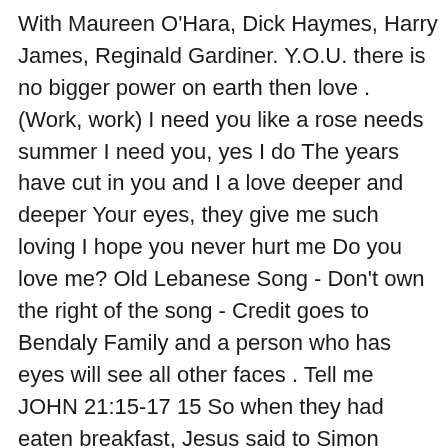With Maureen O'Hara, Dick Haymes, Harry James, Reginald Gardiner. Y.O.U. there is no bigger power on earth then love . (Work, work) I need you like a rose needs summer I need you, yes I do The years have cut in you and I a love deeper and deeper Your eyes, they give me such loving I hope you never hurt me Do you love me? Old Lebanese Song - Don't own the right of the song - Credit goes to Bendaly Family and a person who has eyes will see all other faces . Tell me JOHN 21:15-17 15 So when they had eaten breakfast, Jesus said to Simon Peter, â Simon, son of Jonah, do you love Me more than these?â He said to Him, â Yes, Lord; You know that I love You.â He said to him, â Feed My lambs.â 16 He said to him again a second time, â Simon, son of Jonah, do you love Me? â He said to Him, â Yes, Lord; You know that I love